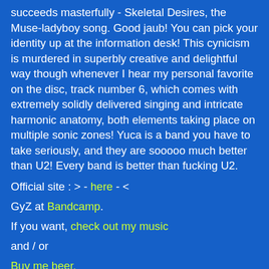succeeds masterfully - Skeletal Desires, the Muse-ladyboy song. Good jaub! You can pick your identity up at the information desk! This cynicism is murdered in superbly creative and delightful way though whenever I hear my personal favorite on the disc, track number 6, which comes with extremely solidly delivered singing and intricate harmonic anatomy, both elements taking place on multiple sonic zones! Yuca is a band you have to take seriously, and they are sooooo much better than U2! Every band is better than fucking U2.
Official site : > - here - <
GyZ at Bandcamp.
If you want, check out my music
and / or
Buy me beer.
GyZ at 12:10 PM